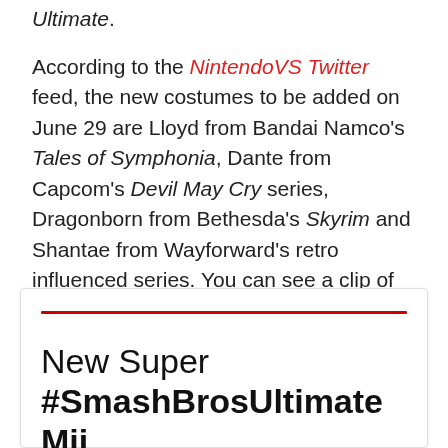Ultimate.
According to the NintendoVS Twitter feed, the new costumes to be added on June 29 are Lloyd from Bandai Namco's Tales of Symphonia, Dante from Capcom's Devil May Cry series, Dragonborn from Bethesda's Skyrim and Shantae from Wayforward's retro influenced series. You can see a clip of all costumes in a video below.
New Super #SmashBrosUltimate Mii